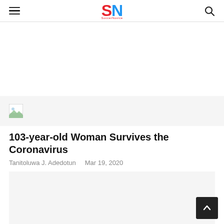SN (SoccerNovice logo) — hamburger menu and search icon
[Figure (other): Advertisement/blank white area]
[Figure (photo): Broken/missing image placeholder with small landscape thumbnail icon]
103-year-old Woman Survives the Coronavirus
Tanitoluwa J. Adedotun   Mar 19, 2020
[Figure (photo): Article main image — light grey placeholder]